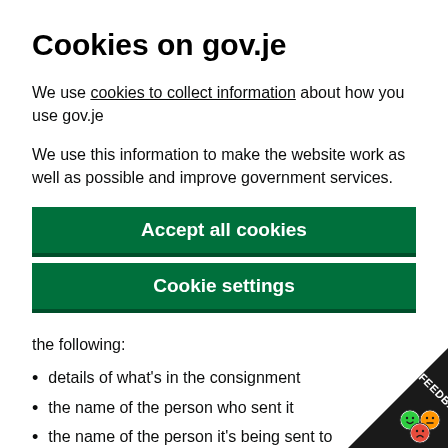Cookies on gov.je
We use cookies to collect information about how you use gov.je
We use this information to make the website work as well as possible and improve government services.
Accept all cookies
Cookie settings
the following:
details of what's in the consignment
the name of the person who sent it
the name of the person it's being sent to
[Figure (illustration): Feedback badge in bottom-right corner with smiley face icons and FEEDBACK text on a dark diagonal banner]